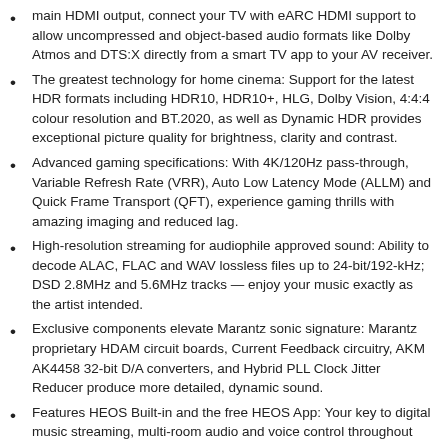main HDMI output, connect your TV with eARC HDMI support to allow uncompressed and object-based audio formats like Dolby Atmos and DTS:X directly from a smart TV app to your AV receiver.
The greatest technology for home cinema: Support for the latest HDR formats including HDR10, HDR10+, HLG, Dolby Vision, 4:4:4 colour resolution and BT.2020, as well as Dynamic HDR provides exceptional picture quality for brightness, clarity and contrast.
Advanced gaming specifications: With 4K/120Hz pass-through, Variable Refresh Rate (VRR), Auto Low Latency Mode (ALLM) and Quick Frame Transport (QFT), experience gaming thrills with amazing imaging and reduced lag.
High-resolution streaming for audiophile approved sound: Ability to decode ALAC, FLAC and WAV lossless files up to 24-bit/192-kHz; DSD 2.8MHz and 5.6MHz tracks — enjoy your music exactly as the artist intended.
Exclusive components elevate Marantz sonic signature: Marantz proprietary HDAM circuit boards, Current Feedback circuitry, AKM AK4458 32-bit D/A converters, and Hybrid PLL Clock Jitter Reducer produce more detailed, dynamic sound.
Features HEOS Built-in and the free HEOS App: Your key to digital music streaming, multi-room audio and voice control throughout